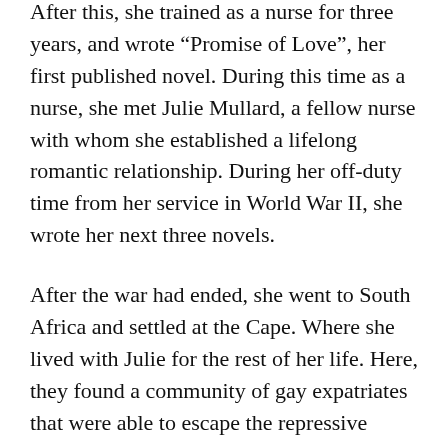After this, she trained as a nurse for three years, and wrote “Promise of Love”, her first published novel. During this time as a nurse, she met Julie Mullard, a fellow nurse with whom she established a lifelong romantic relationship. During her off-duty time from her service in World War II, she wrote her next three novels.
After the war had ended, she went to South Africa and settled at the Cape. Where she lived with Julie for the rest of her life. Here, they found a community of gay expatriates that were able to escape the repressive attitudes toward homosexuality in Britain. They were able to make a home together in the new land without causing any outrage they had occasionally provoked at home.
That being said, they were still critical of the less